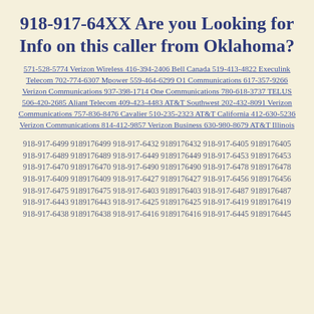918-917-64XX Are you Looking for Info on this caller from Oklahoma?
571-528-5774 Verizon Wireless 416-394-2406 Bell Canada 519-413-4822 Execulink Telecom 702-774-6307 Mpower 559-464-6299 O1 Communications 617-357-9266 Verizon Communications 937-398-1714 One Communications 780-618-3737 TELUS 506-420-2685 Aliant Telecom 409-423-4483 AT&T Southwest 202-432-8091 Verizon Communications 757-836-8476 Cavalier 510-235-2323 AT&T California 412-630-5236 Verizon Communications 814-412-9857 Verizon Business 630-980-8679 AT&T Illinois
918-917-6499 9189176499 918-917-6432 9189176432 918-917-6405 9189176405 918-917-6489 9189176489 918-917-6449 9189176449 918-917-6453 9189176453 918-917-6470 9189176470 918-917-6490 9189176490 918-917-6478 9189176478 918-917-6409 9189176409 918-917-6427 9189176427 918-917-6456 9189176456 918-917-6475 9189176475 918-917-6403 9189176403 918-917-6487 9189176487 918-917-6443 9189176443 918-917-6425 9189176425 918-917-6419 9189176419 918-917-6438 9189176438 918-917-6416 9189176416 918-917-6445 9189176445